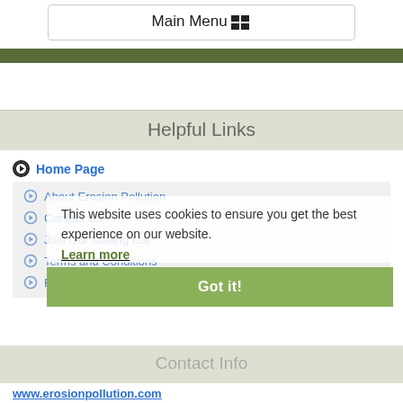Main Menu
Helpful Links
Home Page
About Erosion Pollution
Contact Us
Join Our Mailing List
Terms and Conditions
Freight Policy
This website uses cookies to ensure you get the best experience on our website.
Learn more
Got it!
Contact Info
www.erosionpollution.com